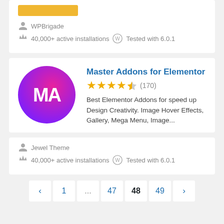[Figure (screenshot): Partial top card showing a yellow/golden banner strip at the top]
WPBrigade
40,000+ active installations  Tested with 6.0.1
[Figure (logo): Master Addons for Elementor plugin logo: circular gradient from pink to purple with white MA letters]
Master Addons for Elementor
★★★★½ (170)
Best Elementor Addons for speed up Design Creativity. Image Hover Effects, Gallery, Mega Menu, Image...
Jewel Theme
40,000+ active installations  Tested with 6.0.1
‹ 1 ... 47 48 49 ›